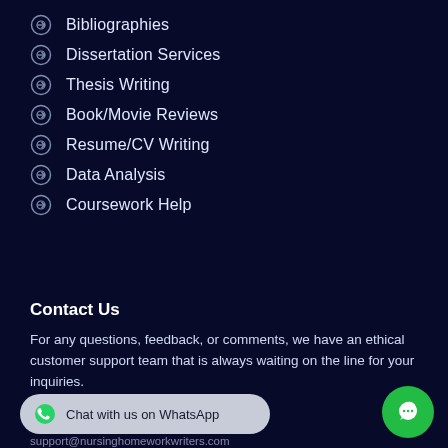Bibliographies
Dissertation Services
Thesis Writing
Book/Movie Reviews
Resume/CV Writing
Data Analysis
Coursework Help
Contact Us
For any questions, feedback, or comments, we have an ethical customer support team that is always waiting on the line for your inquiries.
Talk to us
Chat with us on WhatsApp
support@nursinghomeworkwriters.com